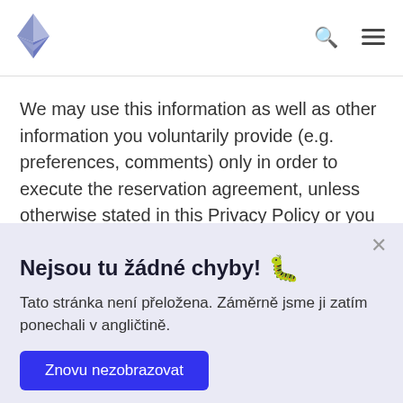[Figure (logo): Ethereum diamond logo in top left of navigation header]
Ethereum website navigation header with logo, search icon, and menu icon
We may use this information as well as other information you voluntarily provide (e.g. preferences, comments) only in order to execute the reservation agreement, unless otherwise stated in this Privacy Policy or you
Nejsou tu žádné chyby! 🐛
Tato stránka není přeložena. Záměrně jsme ji zatím ponechali v angličtině.
Znovu nezobrazovat